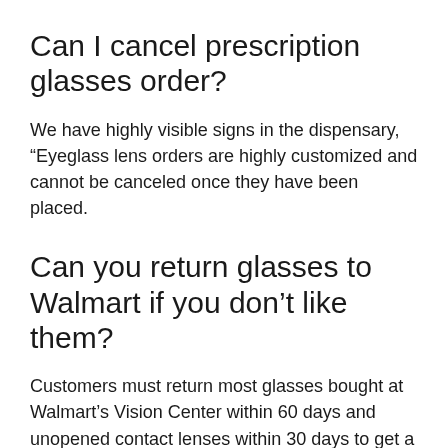Can I cancel prescription glasses order?
We have highly visible signs in the dispensary, “Eyeglass lens orders are highly customized and cannot be canceled once they have been placed.
Can you return glasses to Walmart if you don’t like them?
Customers must return most glasses bought at Walmart’s Vision Center within 60 days and unopened contact lenses within 30 days to get a full refund. … For opened and